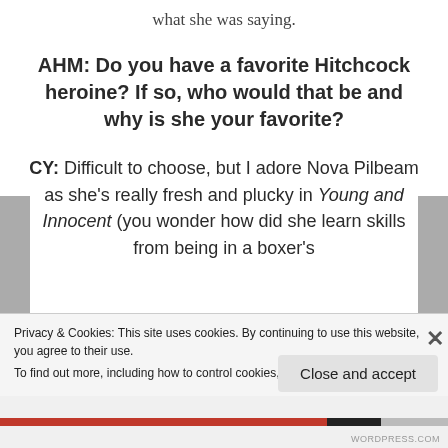what she was saying.
AHM: Do you have a favorite Hitchcock heroine? If so, who would that be and why is she your favorite?
CY: Difficult to choose, but I adore Nova Pilbeam as she's really fresh and plucky in Young and Innocent (you wonder how did she learn skills from being in a boxer's
Privacy & Cookies: This site uses cookies. By continuing to use this website, you agree to their use.
To find out more, including how to control cookies, see here: Cookie Policy
Close and accept